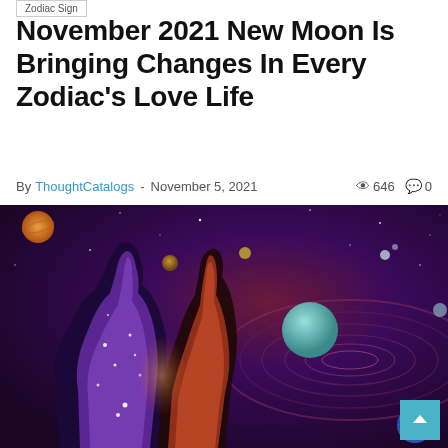Zodiac Sign
November 2021 New Moon Is Bringing Changes In Every Zodiac's Love Life
By ThoughtCatalogs - November 5, 2021  646  0
[Figure (photo): Cosmic double-exposure art of two silhouetted figures (couple) facing each other, their bodies filled with galaxy and nebula imagery — stars, purple and orange hues — set against a deep space background with planets and a ringed galaxy spiral.]